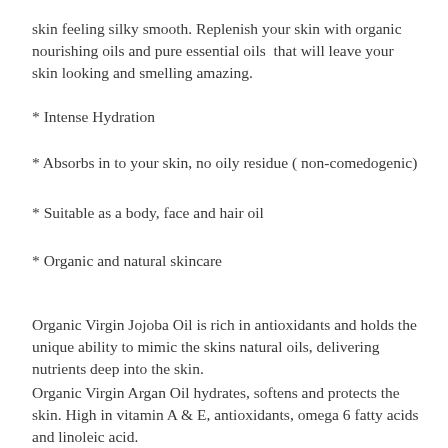skin feeling silky smooth. Replenish your skin with organic nourishing oils and pure essential oils  that will leave your skin looking and smelling amazing.
* Intense Hydration
* Absorbs in to your skin, no oily residue ( non-comedogenic)
* Suitable as a body, face and hair oil
* Organic and natural skincare
Organic Virgin Jojoba Oil is rich in antioxidants and holds the unique ability to mimic the skins natural oils, delivering nutrients deep into the skin.
Organic Virgin Argan Oil hydrates, softens and protects the skin. High in vitamin A & E, antioxidants, omega 6 fatty acids and linoleic acid.
Organic Virgin Apricot Kernal Oil is rich, nourishing and readily absorbed by the skin. It helps to soothe dry irritated skin and is very